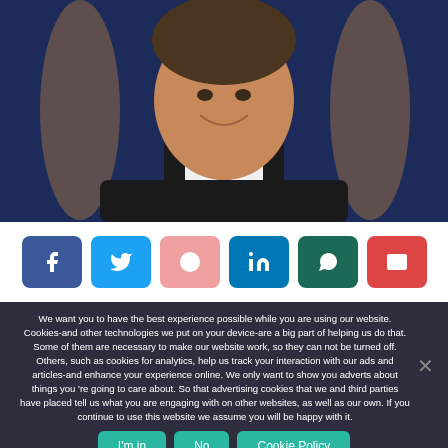[Figure (photo): Cropped photo of a smiling man in a dark suit with a blue tie, against a dark blue background with blurred flags]
[Figure (infographic): Social sharing buttons: Facebook (blue), Twitter (light blue), Pinterest (pink), LinkedIn (dark blue), WhatsApp (dark green), Email (red)]
We want you to have the best experience possible while you are using our website. Cookies-and other technologies we put on your device-are a big part of helping us do that. Some of them are necessary to make our website work, so they can not be turned off. Others, such as cookies for analytics, help us track your interaction with our ads and articles-and enhance your experience online. We only want to show you adverts about things you 're going to care about. So that advertising cookies that we and third parties have placed tell us what you are engaging with on other websites, as well as our own. If you continue to use this website we assume you will be happy with it.
I'm in
No
Cookie Policy